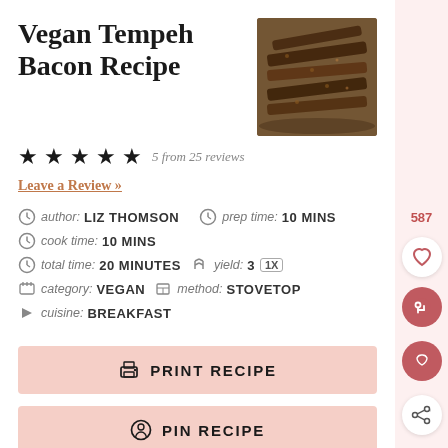Vegan Tempeh Bacon Recipe
[Figure (photo): Photo of vegan tempeh bacon strips on a pan]
★★★★★ 5 from 25 reviews
Leave a Review »
author: LIZ THOMSON   prep time: 10 MINS
cook time: 10 MINS
total time: 20 MINUTES   yield: 3  1X
category: VEGAN   method: STOVETOP
cuisine: BREAKFAST
PRINT RECIPE
PIN RECIPE